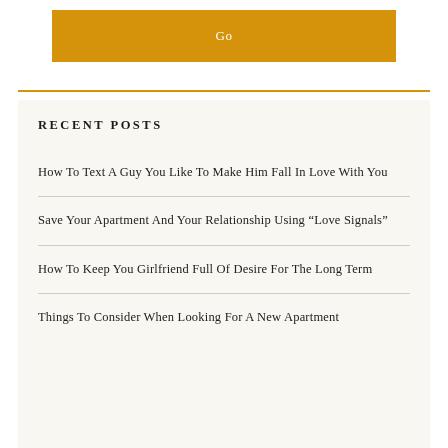Go
RECENT POSTS
How To Text A Guy You Like To Make Him Fall In Love With You
Save Your Apartment And Your Relationship Using “Love Signals”
How To Keep You Girlfriend Full Of Desire For The Long Term
Things To Consider When Looking For A New Apartment